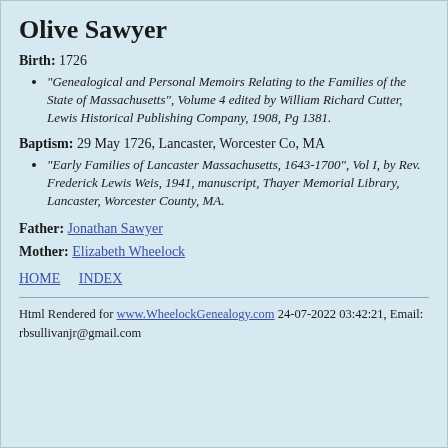Olive Sawyer
Birth: 1726
"Genealogical and Personal Memoirs Relating to the Families of the State of Massachusetts", Volume 4 edited by William Richard Cutter, Lewis Historical Publishing Company, 1908, Pg 1381.
Baptism: 29 May 1726, Lancaster, Worcester Co, MA
"Early Families of Lancaster Massachusetts, 1643-1700", Vol I, by Rev. Frederick Lewis Weis, 1941, manuscript, Thayer Memorial Library, Lancaster, Worcester County, MA.
Father: Jonathan Sawyer
Mother: Elizabeth Wheelock
HOME   INDEX
Html Rendered for www.WheelockGenealogy.com 24-07-2022 03:42:21, Email: rbsullivanjr@gmail.com